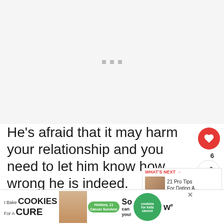[Figure (photo): Blank/loading image placeholder with three small grey dots in the center]
He's afraid that it may harm your relationship and you need to let him know how wrong he is indeed.
keep sweeping your issues under the
[Figure (infographic): WHAT'S NEXT → 21 Pro Tips For Dating A... promotional widget with couple photo thumbnail]
[Figure (infographic): Ad banner: I Bake COOKIES For A CURE — Heldora, 11 Cancer Survivor — So can you! — cookies for kids cancer logo — close X button]